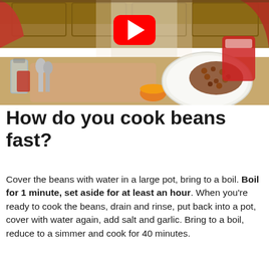[Figure (photo): Kitchen scene showing a person in a red plaid shirt pouring beans onto a white plate on a wooden cutting board, with glass jars, spoons, and an orange bowl visible. A YouTube play button overlay is shown in the upper center.]
How do you cook beans fast?
Cover the beans with water in a large pot, bring to a boil. Boil for 1 minute, set aside for at least an hour. When you’re ready to cook the beans, drain and rinse, put back into a pot, cover with water again, add salt and garlic. Bring to a boil, reduce to a simmer and cook for 40 minutes.